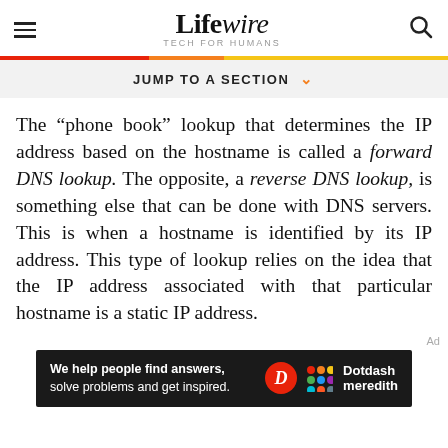Lifewire — TECH FOR HUMANS
JUMP TO A SECTION
The "phone book" lookup that determines the IP address based on the hostname is called a forward DNS lookup. The opposite, a reverse DNS lookup, is something else that can be done with DNS servers. This is when a hostname is identified by its IP address. This type of lookup relies on the idea that the IP address associated with that particular hostname is a static IP address.
[Figure (other): Dotdash Meredith advertisement banner with white text on dark background reading 'We help people find answers, solve problems and get inspired.' with Dotdash Meredith logo.]